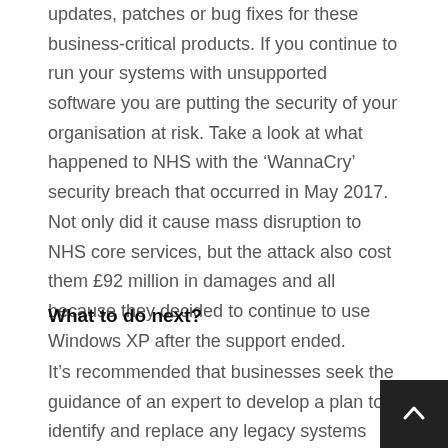updates, patches or bug fixes for these business-critical products. If you continue to run your systems with unsupported software you are putting the security of your organisation at risk. Take a look at what happened to NHS with the 'WannaCry' security breach that occurred in May 2017. Not only did it cause mass disruption to NHS core services, but the attack also cost them £92 million in damages and all because they decided to continue to use Windows XP after the support ended.
What to do next?
It's recommended that businesses seek the guidance of an expert to develop a plan to identify and replace any legacy systems with updated technology. This typically